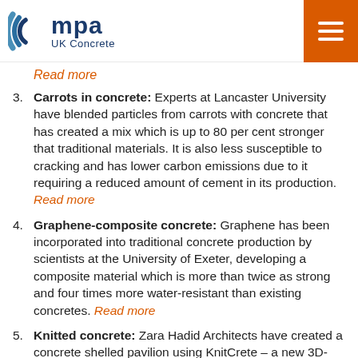mpa UK Concrete
Read more
Carrots in concrete: Experts at Lancaster University have blended particles from carrots with concrete that has created a mix which is up to 80 per cent stronger that traditional materials. It is also less susceptible to cracking and has lower carbon emissions due to it requiring a reduced amount of cement in its production. Read more
Graphene-composite concrete: Graphene has been incorporated into traditional concrete production by scientists at the University of Exeter, developing a composite material which is more than twice as strong and four times more water-resistant than existing concretes. Read more
Knitted concrete: Zara Hadid Architects have created a concrete shelled pavilion using KnitCrete – a new 3D-